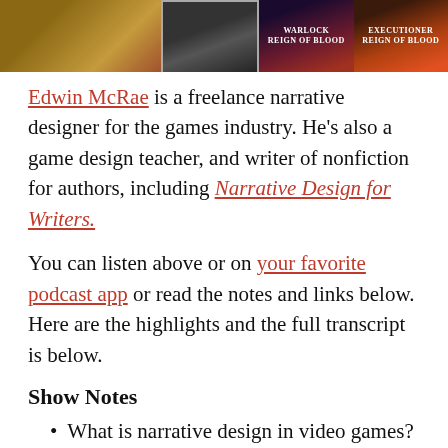[Figure (photo): Row of four book/author images: a person in a brown shirt, a dark puzzle-piece object, Warlock Reign of Blood book cover, Executioner Reign of Blood book cover]
Edwin McRae is a freelance narrative designer for the games industry. He's also a game design teacher, and writer of nonfiction for authors, including Narrative Design for Writers.
You can listen above or on your favorite podcast app or read the notes and links below. Here are the highlights and the full transcript is below.
Show Notes
What is narrative design in video games?
Why is gaming important to the entertainment industry?